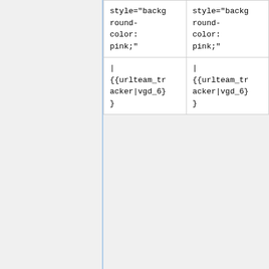| style="background-color: pink;" | style="background-color: pink;" |
| | {{urlteam_tracker|vgd_6}} | | {{urlteam_tracker|vgd_6}} |
Revision as of 03:11, 21 December 2015
| Urlteam |
| --- |
| URL | http://urlte.am |
| Status | Online! |
| Archiving status | In progress... |